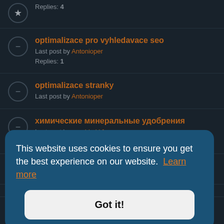Replies: 4
optimalizace pro vyhledavace seo
Last post by Antonioper
Replies: 1
optimalizace stranky
Last post by Antonioper
химические минеральные удобрения
Last post by agrohimkkf
Replies: 1
Just wanted to say Hello!
This website uses cookies to ensure you get the best experience on our website. Learn more
Got it!
мультфильм 2022 смотреть в 4к
Last post by RodgerGok